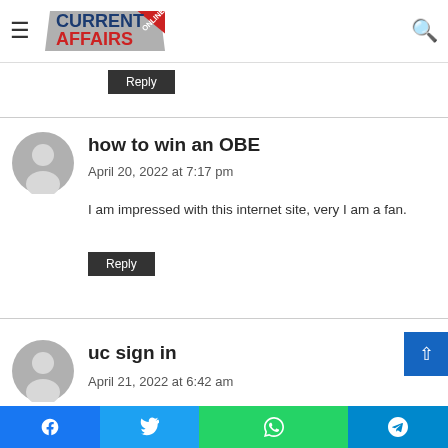Current Affairs Online (navigation bar with logo, hamburger menu, search icon)
bookmarked. Kindly additionally seek advice from my … ve a hyperlink change agreement.
Reply
how to win an OBE
April 20, 2022 at 7:17 pm
I am impressed with this internet site, very I am a fan.
Reply
uc sign in
April 21, 2022 at 6:42 am
Facebook Twitter WhatsApp Telegram social share bar